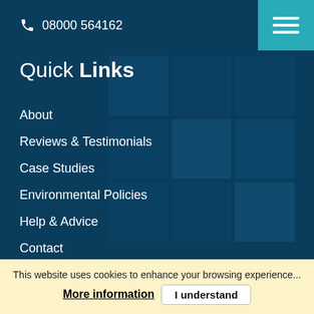08000 564162
Quick Links
About
Reviews & Testimonials
Case Studies
Environmental Policies
Help & Advice
Contact
Privacy Policy
This website uses cookies to enhance your browsing experience...
More information | I understand